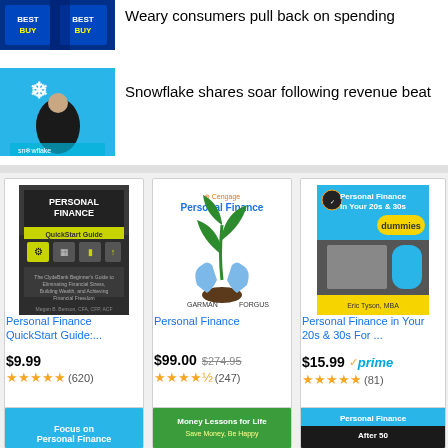[Figure (photo): Best Buy store logo thumbnail]
Weary consumers pull back on spending
[Figure (photo): Snowflake logo with man in front of Snowflake banner]
Snowflake shares soar following revenue beat
[Figure (photo): Personal Finance QuickStart Guide book cover]
Personal Finance QuickStart Guide:....
$9.99
(620)
[Figure (photo): Personal Finance by Garman Forgus (Cengage) book cover]
Personal Finance
$99.00  $274.95
(247)
[Figure (photo): Personal Finance in Your 20s & 30s For Dummies book cover]
Personal Finance in Your 20s & 30s For ...
$15.99  prime
(81)
[Figure (photo): Focus on Personal Finance book cover (partial)]
[Figure (photo): Money Lessons for Life book cover (partial)]
[Figure (photo): Personal Finance After 50 book cover (partial)]